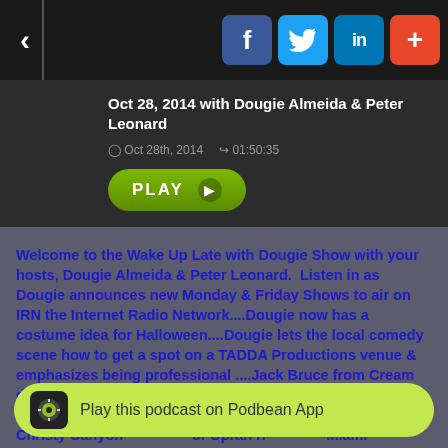Oct 28, 2014 with Dougie Almeida & Peter Leonard
Oct 28th, 2014  01:50:35
PLAY
Welcome to the Wake Up Late with Dougie Show with your hosts, Dougie Almeida & Peter Leonard.  Listen in as Dougie announces new Monday & Friday Shows to air on IRN the Internet Radio Network....Dougie now has a costume idea for Halloween....Dougie lets the local comedy scene how to get a spot on a TADDA Productions venue & emphasizes being professional ....Jack Bruce from Cream dies at 71....Remember the, “Bay City Rollers” and their stupid outfits?.....Dougie & Peter discuss the mamm... Christy Canyon... of Oprah ri... Miami
Play this podcast on Podbean App